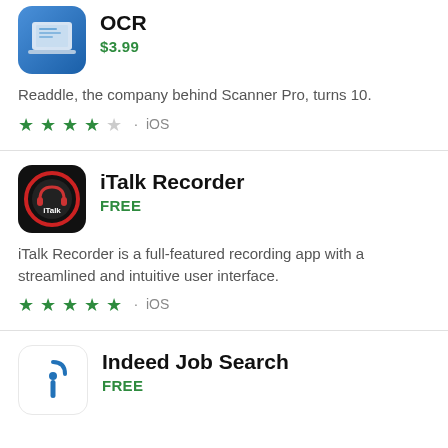[Figure (logo): OCR app icon - blue gradient background with laptop/scanner illustration]
OCR
$3.99
Readdle, the company behind Scanner Pro, turns 10.
★★★★☆ • iOS
[Figure (logo): iTalk Recorder app icon - black background with red headphones graphic and iTalk text]
iTalk Recorder
FREE
iTalk Recorder is a full-featured recording app with a streamlined and intuitive user interface.
★★★★★ • iOS
[Figure (logo): Indeed Job Search app icon - white background with blue indeed logo mark]
Indeed Job Search
FREE